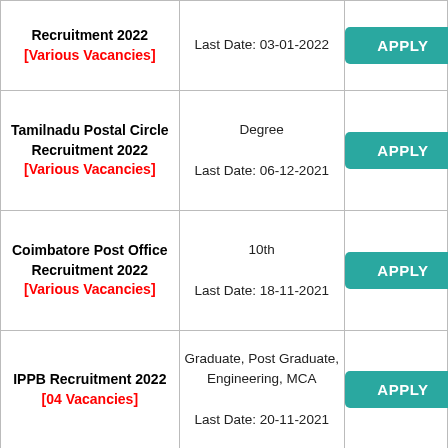| Job Title / Vacancies | Qualification / Last Date | Apply |
| --- | --- | --- |
| Recruitment 2022
[Various Vacancies] | Last Date: 03-01-2022 | APPLY |
| Tamilnadu Postal Circle Recruitment 2022
[Various Vacancies] | Degree
Last Date: 06-12-2021 | APPLY |
| Coimbatore Post Office Recruitment 2022
[Various Vacancies] | 10th
Last Date: 18-11-2021 | APPLY |
| IPPB Recruitment 2022
[04 Vacancies] | Graduate, Post Graduate, Engineering, MCA
Last Date: 20-11-2021 | APPLY |